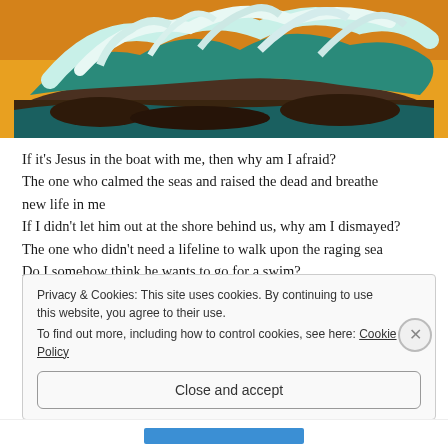[Figure (photo): Ocean wave crashing against rocky shore with yellow sky in background]
If it's Jesus in the boat with me, then why am I afraid?
The one who calmed the seas and raised the dead and breathe new life in me
If I didn't let him out at the shore behind us, why am I dismayed?
The one who didn't need a lifeline to walk upon the raging sea
Do I somehow think he wants to go for a swim?
Privacy & Cookies: This site uses cookies. By continuing to use this website, you agree to their use.
To find out more, including how to control cookies, see here: Cookie Policy
Close and accept